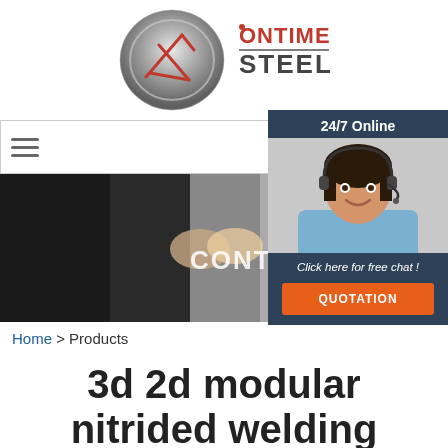[Figure (logo): OnTime Steel company logo with steel/metallic circular emblem and red brand name text]
[Figure (screenshot): Navigation bar with hamburger menu icon on the left]
[Figure (photo): Headshot of smiling woman with headset in blue shirt, customer support representative, with 24/7 Online header and Click here for free chat text and orange QUOTATION button]
[Figure (photo): Hero banner image showing two people shaking hands in formal business attire, partially overlaid with the word CONTA]
Home > Products
3d 2d modular nitrided welding clamping table